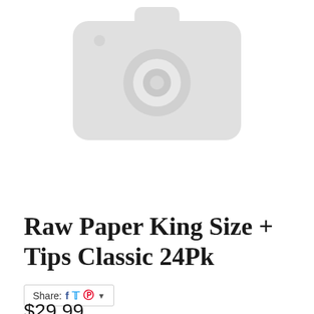[Figure (photo): Placeholder product image: grey camera icon on white background]
Raw Paper King Size + Tips Classic 24Pk
Share: [Facebook] [Twitter] [Pinterest] ▾
$29.99